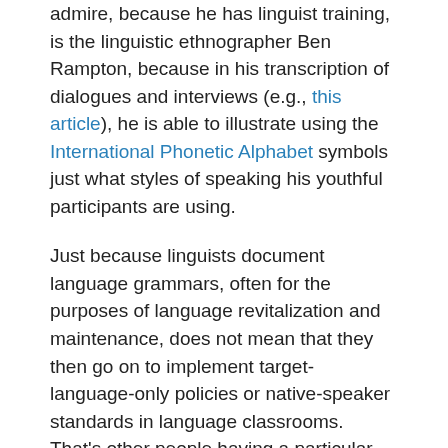admire, because he has linguist training, is the linguistic ethnographer Ben Rampton, because in his transcription of dialogues and interviews (e.g., this article), he is able to illustrate using the International Phonetic Alphabet symbols just what styles of speaking his youthful participants are using.
Just because linguists document language grammars, often for the purposes of language revitalization and maintenance, does not mean that they then go on to implement target-language-only policies or native-speaker standards in language classrooms. That's other people having a particular approach to a different profession. The bottom-up nature of linguistic data collection is evident in the HKU